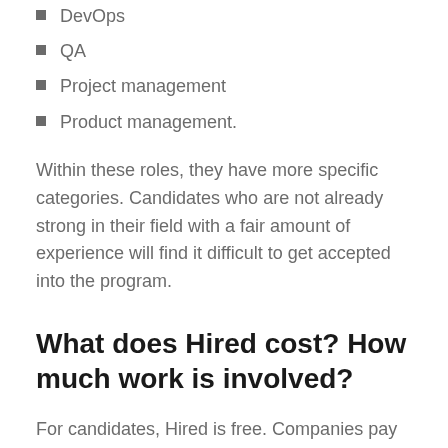DevOps
QA
Project management
Product management.
Within these roles, they have more specific categories. Candidates who are not already strong in their field with a fair amount of experience will find it difficult to get accepted into the program.
What does Hired cost? How much work is involved?
For candidates, Hired is free. Companies pay them for access to their already vetted candidates. In addition, if you accept a job from Hired, you get a bonus from them. People have reported spending a lot of time on their profile but then they are rejected. Often this is because